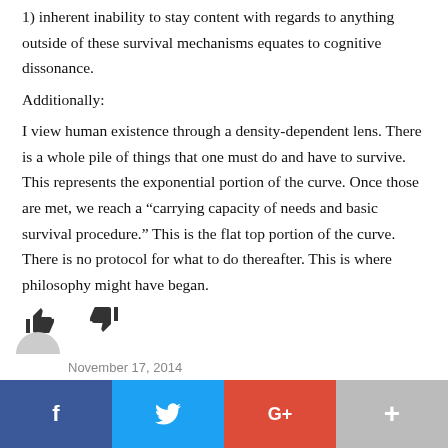1) inherent inability to stay content with regards to anything outside of these survival mechanisms equates to cognitive dissonance.
Additionally:
I view human existence through a density-dependent lens. There is a whole pile of things that one must do and have to survive. This represents the exponential portion of the curve. Once those are met, we reach a “carrying capacity of needs and basic survival procedure.” This is the flat top portion of the curve. There is no protocol for what to do thereafter. This is where philosophy might have began.
[Figure (other): Thumbs up and thumbs down icons for voting/rating]
November 17, 2014
f  (Facebook share button)  t (Twitter share button)  G+ (Google Plus share button)  + (More share button)